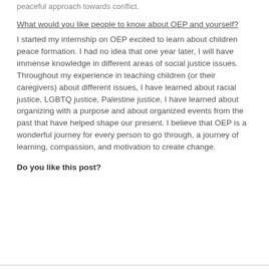peaceful approach towards conflict.
What would you like people to know about OEP and yourself?
I started my internship on OEP excited to learn about children peace formation. I had no idea that one year later, I will have immense knowledge in different areas of social justice issues. Throughout my experience in teaching children (or their caregivers) about different issues, I have learned about racial justice, LGBTQ justice, Palestine justice, I have learned about organizing with a purpose and about organized events from the past that have helped shape our present. I believe that OEP is a wonderful journey for every person to go through, a journey of learning, compassion, and motivation to create change.
Do you like this post?